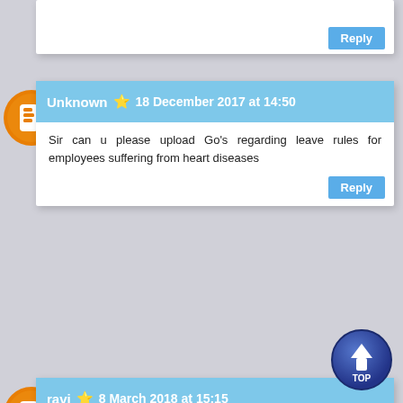[Figure (screenshot): Blog comment section with three comment blocks. First comment by Unknown on 18 December 2017 at 14:50, asking to upload GOs regarding leave rules for employees suffering from heart diseases. Second comment by ravi on 8 March 2018 at 15:15, stating the comment has been removed by the author. Third comment by Unknown on 15 June 2018 at 13:04, requesting GO MS No. 35 F&P (FW FR I) Department dated 31/01/1976 about leave salary and allowances for SLS b... servants who are on deputation. Each comment has a Reply button. A 'TOP' navigation button appears in the bottom right.]